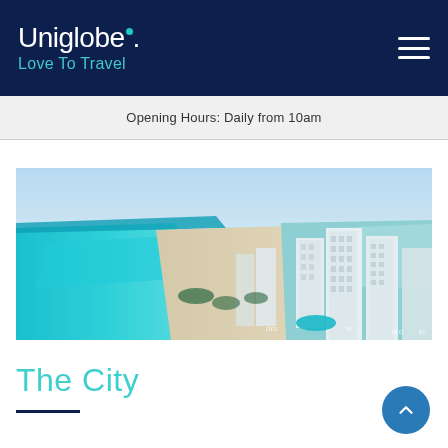Uniglobe. Love To Travel
Opening Hours: Daily from 10am
[Figure (photo): Aerial coastal view of a beach resort city, showing turquoise ocean water, white sand beach, and modern high-rise hotel buildings along the shoreline.]
The City